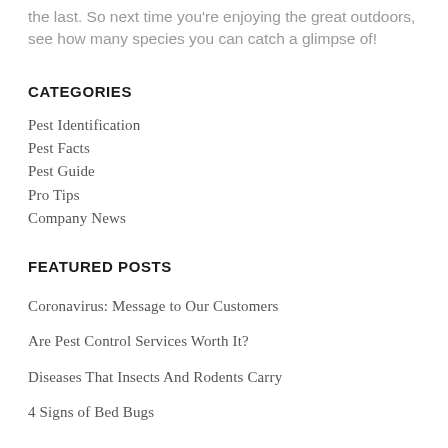the last. So next time you're enjoying the great outdoors, see how many species you can catch a glimpse of!
CATEGORIES
Pest Identification
Pest Facts
Pest Guide
Pro Tips
Company News
FEATURED POSTS
Coronavirus: Message to Our Customers
Are Pest Control Services Worth It?
Diseases That Insects And Rodents Carry
4 Signs of Bed Bugs